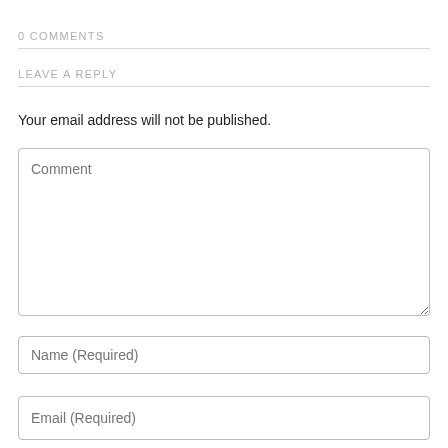0 COMMENTS
LEAVE A REPLY
Your email address will not be published.
Comment
Name (Required)
Email (Required)